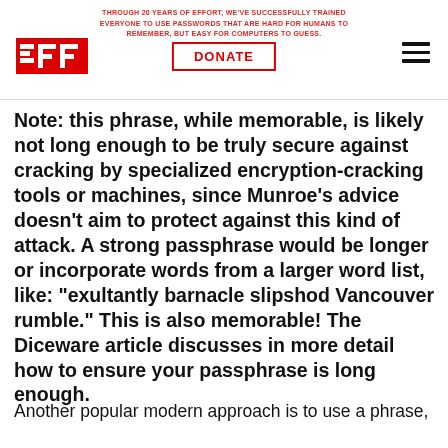THROUGH 20 YEARS OF EFFORT, WE'VE SUCCESSFULLY TRAINED EVERYONE TO USE PASSWORDS THAT ARE HARD FOR HUMANS TO REMEMBER, BUT EASY FOR COMPUTERS TO GUESS. DONATE
Note: this phrase, while memorable, is likely not long enough to be truly secure against cracking by specialized encryption-cracking tools or machines, since Munroe's advice doesn't aim to protect against this kind of attack. A strong passphrase would be longer or incorporate words from a larger word list, like: “exultantly barnacle slipshod Vancouver rumble.” This is also memorable! The Diceware article discusses in more detail how to ensure your passphrase is long enough.
Another popular modern approach is to use a phrase,